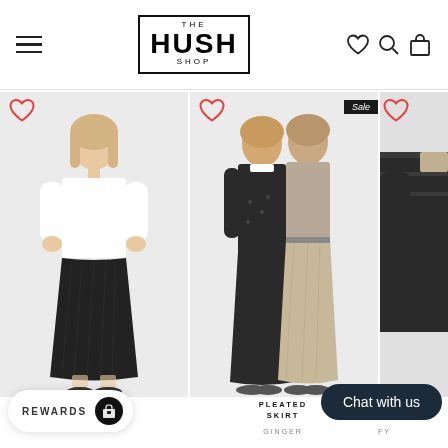The Hush Shop - navigation header with hamburger menu, logo, and icons (heart, search, bag)
[Figure (photo): Product photo: woman wearing white long-sleeve top with black pleated midi skirt, with heart/wishlist button]
[Figure (photo): Product photo: two women wearing pleated skirts (black printed and beige), with Sale badge and heart/wishlist button]
[Figure (photo): Product photo: partial view of dark striped long-sleeve top, with heart/wishlist button]
PLEATED SKIRT
GINGER
IPED TO
FY
NONI
Chat with us
REWARDS